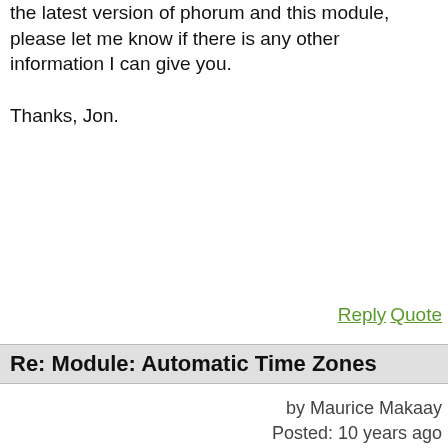the latest version of phorum and this module, please let me know if there is any other information I can give you.

Thanks, Jon.
Reply  Quote
Re: Module: Automatic Time Zones
by Maurice Makaay
Posted: 10 years ago
I think I found the problem. Please try version 6.0.2 of this module.
Maurice Makaay
Phorum Development Team
[wordpress icon] my blog  [linkedin icon] linkedin profile  [? icon] secret sauce
Reply  Quote